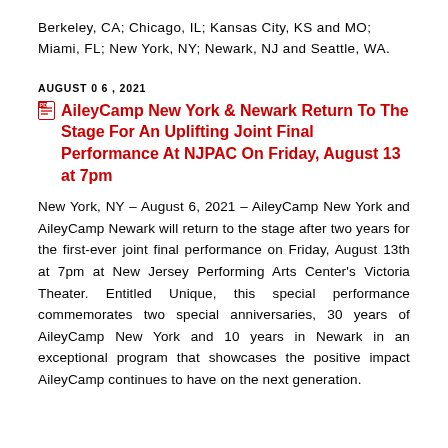Berkeley, CA; Chicago, IL; Kansas City, KS and MO; Miami, FL; New York, NY; Newark, NJ and Seattle, WA.
AUGUST 06, 2021
AileyCamp New York & Newark Return To The Stage For An Uplifting Joint Final Performance At NJPAC On Friday, August 13 at 7pm
New York, NY – August 6, 2021 – AileyCamp New York and AileyCamp Newark will return to the stage after two years for the first-ever joint final performance on Friday, August 13th at 7pm at New Jersey Performing Arts Center's Victoria Theater. Entitled Unique, this special performance commemorates two special anniversaries, 30 years of AileyCamp New York and 10 years in Newark in an exceptional program that showcases the positive impact AileyCamp continues to have on the next generation.